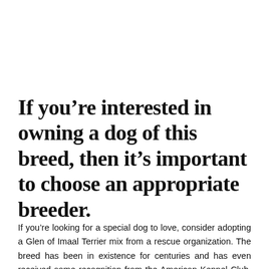If you're interested in owning a dog of this breed, then it's important to choose an appropriate breeder.
If you're looking for a special dog to love, consider adopting a Glen of Imaal Terrier mix from a rescue organization. The breed has been in existence for centuries and has even received some recognition from the American Kennel Club. Despite the terrier group's